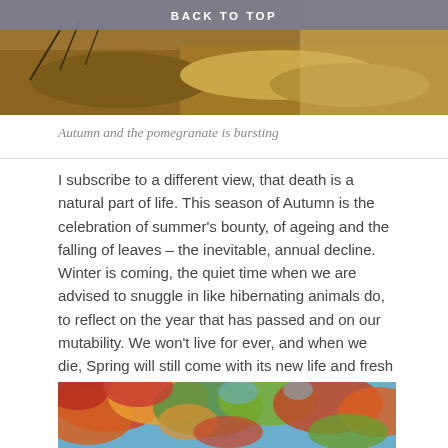BACK TO TOP
[Figure (photo): Autumn outdoor scene with rocks and dry vegetation in warm sunlight]
Autumn and the pomegranate is bursting
I subscribe to a different view, that death is a natural part of life. This season of Autumn is the celebration of summer's bounty, of ageing and the falling of leaves – the inevitable, annual decline. Winter is coming, the quiet time when we are advised to snuggle in like hibernating animals do, to reflect on the year that has passed and on our mutability. We won't live for ever, and when we die, Spring will still come with its new life and fresh beginnings. We might even be reborn! With a bit of work, we can start to appreciate our small place in this cycle.
[Figure (photo): Autumn tree canopy viewed from below, showing red, orange, and green leaves against a blue sky]